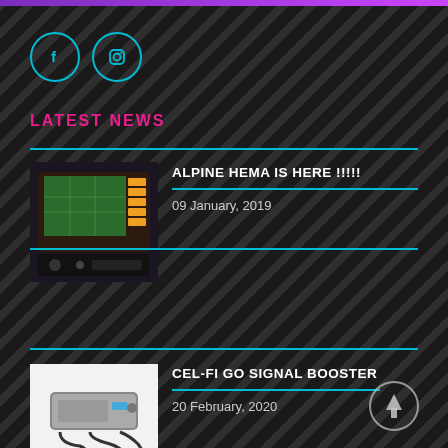[Figure (logo): Purple top bar stripe]
[Figure (illustration): Facebook icon in cyan circle]
[Figure (illustration): Instagram icon in cyan circle]
LATEST NEWS
[Figure (photo): Car dashboard with Alpine navigation system showing green map display]
ALPINE HEMA IS HERE !!!!!
09 January, 2019
[Figure (photo): Cel-Fi Go signal booster device with accessories on white background]
CEL-FI GO SIGNAL BOOSTER
20 February, 2020
[Figure (illustration): Scroll to top button - circle with upward arrow]